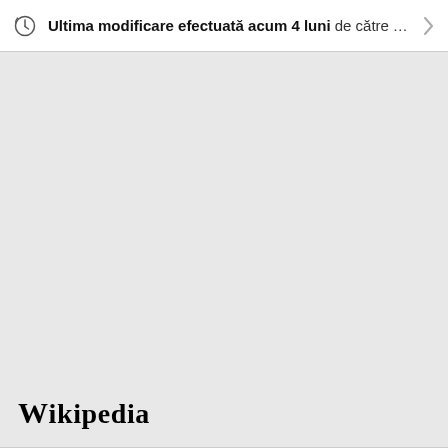Ultima modificare efectuată acum 4 luni de către T...
[Figure (logo): Wikipedia wordmark in serif font at bottom left]